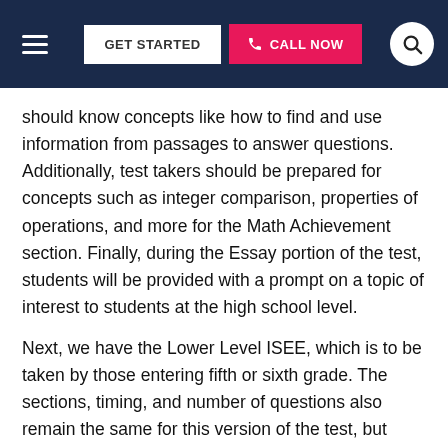GET STARTED | CALL NOW
should know concepts like how to find and use information from passages to answer questions. Additionally, test takers should be prepared for concepts such as integer comparison, properties of operations, and more for the Math Achievement section. Finally, during the Essay portion of the test, students will be provided with a prompt on a topic of interest to students at the high school level.
Next, we have the Lower Level ISEE, which is to be taken by those entering fifth or sixth grade. The sections, timing, and number of questions also remain the same for this version of the test, but there are a few key differences. For the Verbal Reasoning section, students will have to know concepts like using context clues to complete a sentence. In the Quantitative Reasoning portion, students should know concepts